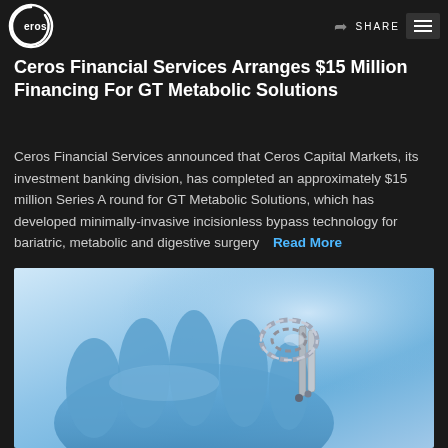Ceros Financial Services | SHARE
Ceros Financial Services Arranges $15 Million Financing For GT Metabolic Solutions
Ceros Financial Services announced that Ceros Capital Markets, its investment banking division, has completed an approximately $15 million Series A round for GT Metabolic Solutions, which has developed minimally-invasive incisionless bypass technology for bariatric, metabolic and digestive surgery   Read More
[Figure (photo): A gloved hand holding a small medical device — a coiled/looped metallic surgical instrument used in minimally-invasive bypass procedures, against a light blue background.]